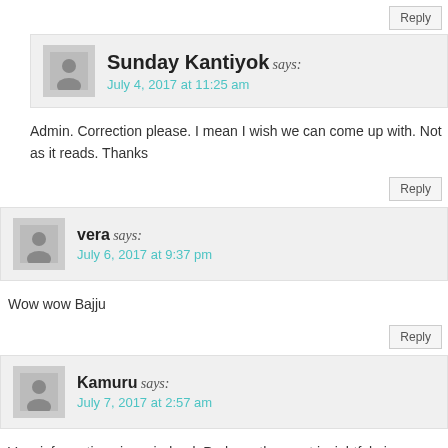Reply
Sunday Kantiyok says: July 4, 2017 at 11:25 am
Admin. Correction please. I mean I wish we can come up with. Not as it reads. Thanks
Reply
vera says: July 6, 2017 at 9:37 pm
Wow wow Bajju
Reply
Kamuru says: July 7, 2017 at 2:57 am
Very informative piece, indeed. Perhaps the most insightful piece on the subject that i have read. The connection between us and the mienge and